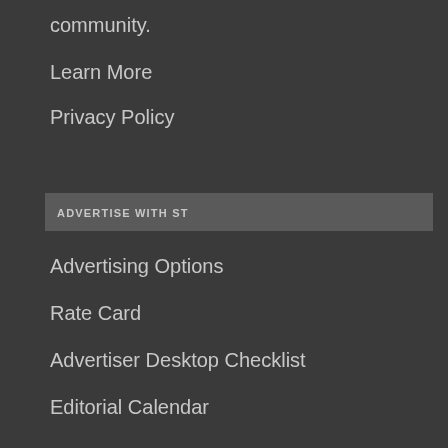community.
Learn More
Privacy Policy
ADVERTISE WITH ST
Advertising Options
Rate Card
Advertiser Desktop Checklist
Editorial Calendar